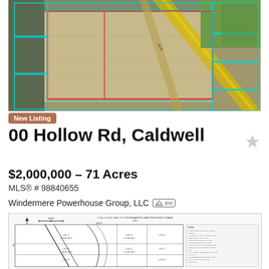[Figure (photo): Aerial satellite view of 71-acre parcel on Hollow Rd, Caldwell, Idaho. Red outline marks the subject property — a large rectangular dirt/fallow field. Cyan outlines mark adjacent parcels. A yellow diagonal road/highway runs through the image. Green field visible at top right.]
New Listing
00 Hollow Rd, Caldwell
$2,000,000 – 71 Acres
MLS® # 98840655
Windermere Powerhouse Group, LLC  MLS IDX
[Figure (engineering-diagram): Plat map / survey drawing of the parcel subdivision in Canyon County, Idaho. Shows lot lines, dimensions, notes, and legal descriptions in small text.]